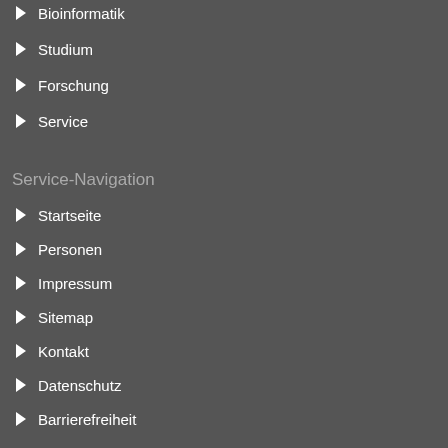Bioinformatik
Studium
Forschung
Service
Service-Navigation
Startseite
Personen
Impressum
Sitemap
Kontakt
Datenschutz
Barrierefreiheit